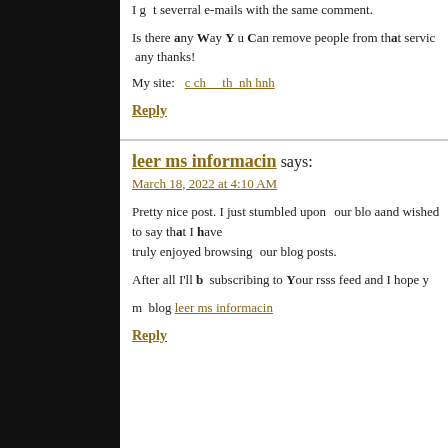I got severral e-mails with the same comment.
Is there any way you can remove people from that service  any thanks!
My site: c ch th nh hnh
Reply
leer ms informacin says:
March 18, 2022 at 4:10 AM
Pretty nice post. I just stumbled upon  our blo aand wished to say that I have truly enjoyed browsing  our blog posts.
After all I’ll b  subscribing to your rsss feed and I hope ye
m  blog leer ms informacin
Reply